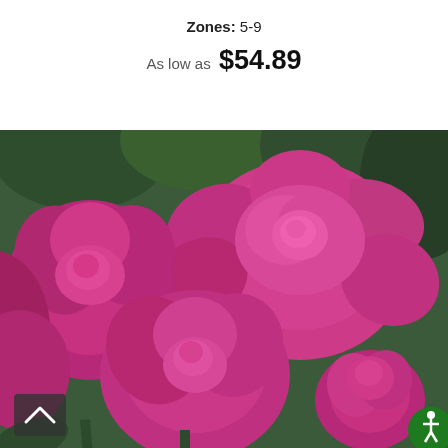Zones: 5-9
As low as  $54.89
[Figure (photo): Close-up photograph of bright pink/magenta roses in full bloom with dark green foliage in the background.]